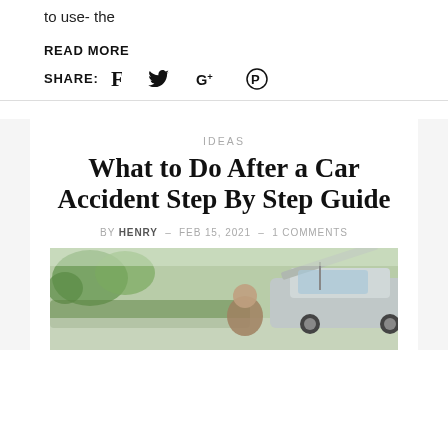to use- the
READ MORE
SHARE: f 🐦 g+ ⊕
IDEAS
What to Do After a Car Accident Step By Step Guide
BY HENRY – FEB 15, 2021 – 1 COMMENTS
[Figure (photo): Person looking under the open hood of a car, outdoors with trees in the background]